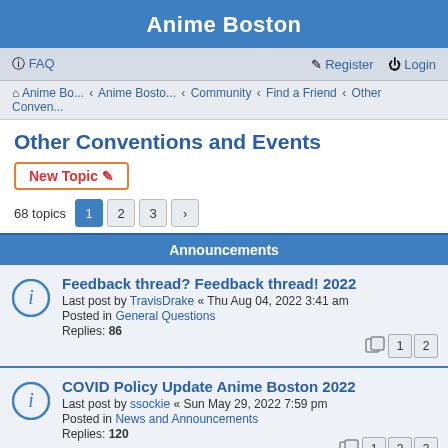Anime Boston
FAQ | Register | Login
Anime Bo... › Anime Bosto... › Community › Find a Friend › Other Conven...
Other Conventions and Events
New Topic
68 topics  1  2  3  >
Announcements
Feedback thread? Feedback thread! 2022
Last post by TravisDrake « Thu Aug 04, 2022 3:41 am
Posted in General Questions
Replies: 86
COVID Policy Update Anime Boston 2022
Last post by ssockie « Sun May 29, 2022 7:59 pm
Posted in News and Announcements
Replies: 120
Please Read: Rules for this forum
Last post by Faceman « Fri Apr 20, 2012 12:38 am
Topics